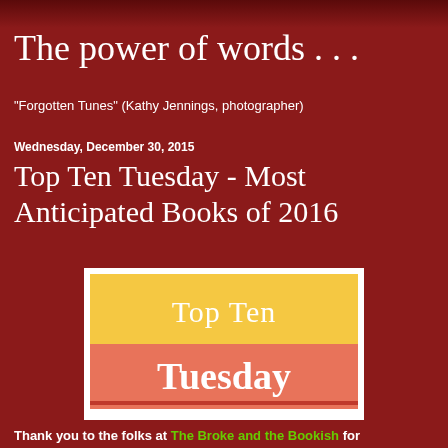The power of words . . .
"Forgotten Tunes" (Kathy Jennings, photographer)
Wednesday, December 30, 2015
Top Ten Tuesday - Most Anticipated Books of 2016
[Figure (logo): Top Ten Tuesday logo with yellow top half showing 'Top Ten' in white serif font and coral/salmon bottom half showing 'Tuesday' in white serif font, with a thin red line near bottom, all on white background]
Thank you to the folks at The Broke and the Bookish for